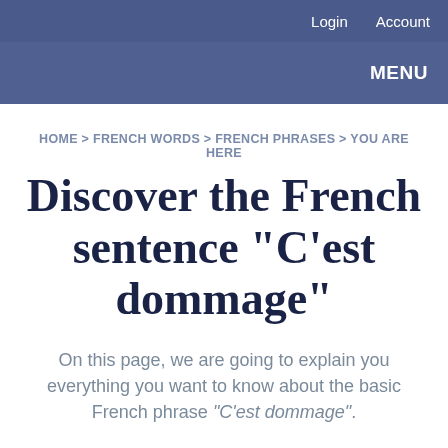Login   Account
MENU
HOME > FRENCH WORDS > FRENCH PHRASES > YOU ARE HERE
Discover the French sentence "C'est dommage"
On this page, we are going to explain you everything you want to know about the basic French phrase "C'est dommage".